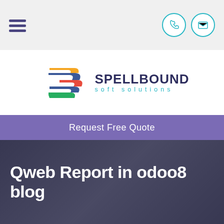Navigation bar with hamburger menu and contact icons
[Figure (logo): Spellbound Soft Solutions logo with colorful S-shaped icon and company name]
Request Free Quote
Qweb Report in odoo8 blog